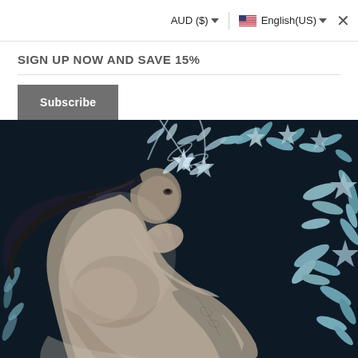AUD ($)   English(US)   ×
SIGN UP NOW AND SAVE 15%
Subscribe
[Figure (illustration): Artistic painting of a figure with dark hair, crouching in a contemplative pose surrounded by blue and white floral/botanical patterns on a dark background. The figure is rendered in a monochromatic grayish tone contrasting with the vivid blue botanical background.]